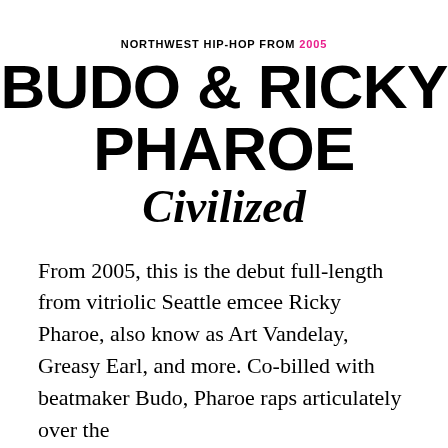NORTHWEST HIP-HOP FROM 2005
BUDO & RICKY PHAROE Civilized
From 2005, this is the debut full-length from vitriolic Seattle emcee Ricky Pharoe, also know as Art Vandelay, Greasy Earl, and more. Co-billed with beatmaker Budo, Pharoe raps articulately over the